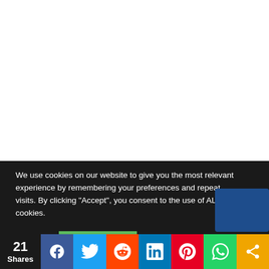[Figure (other): White content area (blank/empty upper portion of webpage)]
We use cookies on our website to give you the most relevant experience by remembering your preferences and repeat visits. By clicking “Accept”, you consent to the use of ALL the cookies.
Sweet
ACCEPT
21 Shares
[Figure (other): Social share bar with icons: Facebook, Twitter, Reddit, LinkedIn, Pinterest, WhatsApp, More]